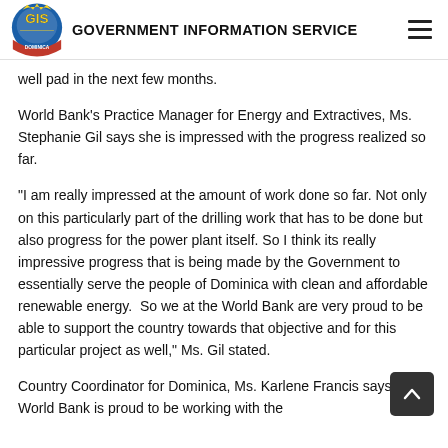GOVERNMENT INFORMATION SERVICE
well pad in the next few months.
World Bank's Practice Manager for Energy and Extractives, Ms. Stephanie Gil says she is impressed with the progress realized so far.
“I am really impressed at the amount of work done so far. Not only on this particularly part of the drilling work that has to be done but also progress for the power plant itself. So I think its really impressive progress that is being made by the Government to essentially serve the people of Dominica with clean and affordable renewable energy.  So we at the World Bank are very proud to be able to support the country towards that objective and for this particular project as well,” Ms. Gil stated.
Country Coordinator for Dominica, Ms. Karlene Francis says the World Bank is proud to be working with the